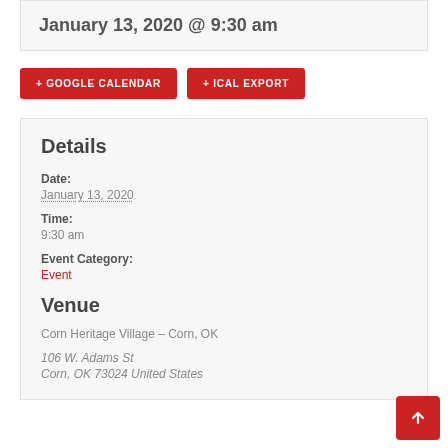January 13, 2020 @ 9:30 am
+ GOOGLE CALENDAR
+ ICAL EXPORT
Details
Date:
January 13, 2020
Time:
9:30 am
Event Category:
Event
Venue
Corn Heritage Village – Corn, OK
106 W. Adams St
Corn, OK 73024 United States